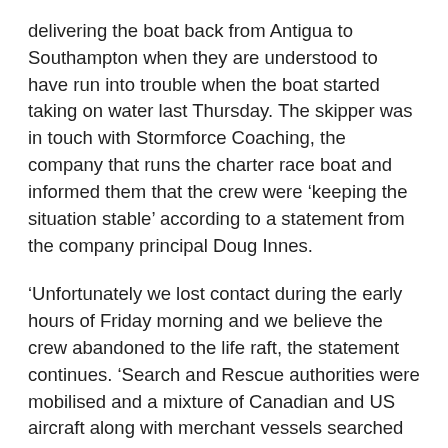delivering the boat back from Antigua to Southampton when they are understood to have run into trouble when the boat started taking on water last Thursday. The skipper was in touch with Stormforce Coaching, the company that runs the charter race boat and informed them that the crew were ‘keeping the situation stable’ according to a statement from the company principal Doug Innes.
‘Unfortunately we lost contact during the early hours of Friday morning and we believe the crew abandoned to the life raft, the statement continues. ‘Search and Rescue authorities were mobilised and a mixture of Canadian and US aircraft along with merchant vessels searched throughout Friday and Saturday. Although the search efforts co ordinated by Boston were exceptional we are devastated